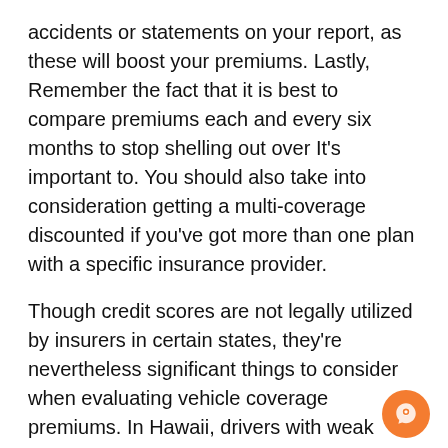accidents or statements on your report, as these will boost your premiums. Lastly, Remember the fact that it is best to compare premiums each and every six months to stop shelling out over It's important to. You should also take into consideration getting a multi-coverage discounted if you've got more than one plan with a specific insurance provider.

Though credit scores are not legally utilized by insurers in certain states, they're nevertheless significant things to consider when evaluating vehicle coverage premiums. In Hawaii, drivers with weak credit rating will pay 168% over equivalent clean up motorists. In Massachusetts, superior-possibility drivers pay 30% more than clean up drivers. For new drivers, a DUI, dashing ticket, and terrible credit history will enhance costs over Other folks. You'll want to receive a handful of estimates before making a decision.
Car Insurance plan In the vicinity of Me – Components That Have an impact on